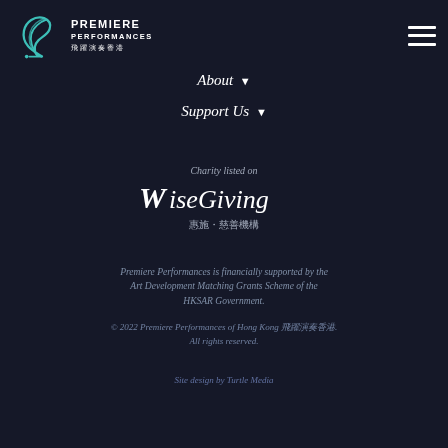[Figure (logo): Premiere Performances of Hong Kong logo — teal musical note/bird motif with text PREMIERE PERFORMANCES and Chinese characters 飛躍演奏香港]
[Figure (other): Hamburger menu icon (three horizontal white lines)]
About ▼
Support Us ▼
[Figure (logo): WiseGiving logo with text 'Charity listed on WiseGiving 惠施·慈善機構']
Premiere Performances is financially supported by the Art Development Matching Grants Scheme of the HKSAR Government.
© 2022 Premiere Performances of Hong Kong 飛躍演奏香港. All rights reserved.
Site design by Turtle Media